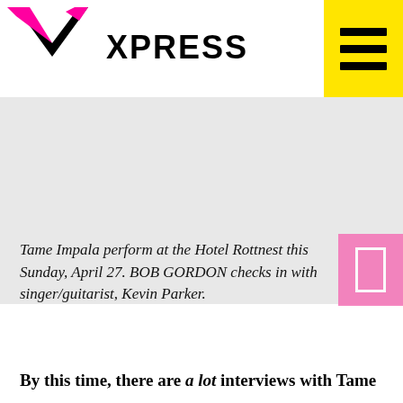[Figure (logo): XPRESS magazine logo with stylized black and pink/magenta triangular bird/arrow shape and the word XPRESS in bold black uppercase letters]
[Figure (other): Yellow square hamburger menu button with three black horizontal lines]
[Figure (photo): Large photo placeholder area (gray) — appears to be a concert or band photo, mostly white/gray in this rendering]
Tame Impala perform at the Hotel Rottnest this Sunday, April 27. BOB GORDON checks in with singer/guitarist, Kevin Parker.
By this time, there are a lot interviews with Tame